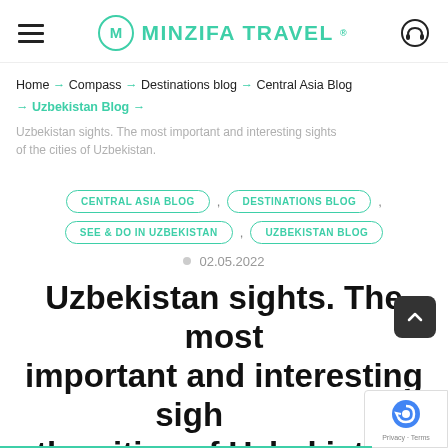MINZIFA TRAVEL
Home → Compass → Destinations blog → Central Asia Blog → Uzbekistan Blog →
Uzbekistan sights. The most important and interesting sights of the cities of Uzbekistan.
CENTRAL ASIA BLOG
DESTINATIONS BLOG
SEE & DO IN UZBEKISTAN
UZBEKISTAN BLOG
02.05.2022
Uzbekistan sights. The most important and interesting sights of the cities of Uzbekistan.